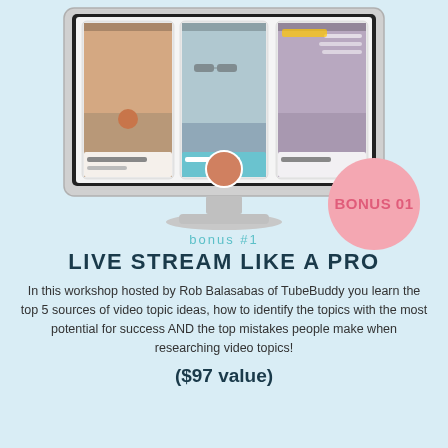[Figure (illustration): Desktop computer monitor displaying three mobile phone screens with people in video calls/live streams. A pink circular badge overlays the bottom-right of the monitor showing 'BONUS 01'.]
bonus #1
LIVE STREAM LIKE A PRO
In this workshop hosted by Rob Balasabas of TubeBuddy you learn the top 5 sources of video topic ideas, how to identify the topics with the most potential for success AND the top mistakes people make when researching video topics!
($97 value)